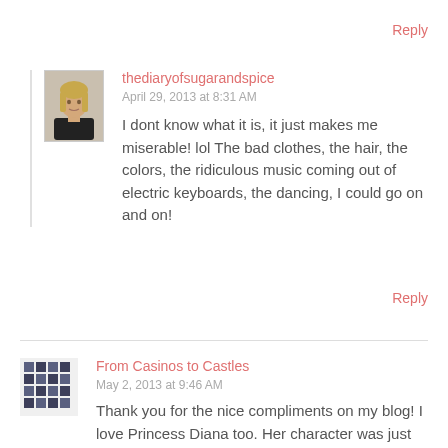Reply
[Figure (photo): Avatar photo of a young woman with blonde hair wearing a dark top]
thediaryofsugarandspice
April 29, 2013 at 8:31 AM
I dont know what it is, it just makes me miserable! lol The bad clothes, the hair, the colors, the ridiculous music coming out of electric keyboards, the dancing, I could go on and on!
Reply
[Figure (illustration): Pixel/checkered pattern avatar icon in dark blue/grey]
From Casinos to Castles
May 2, 2013 at 9:46 AM
Thank you for the nice compliments on my blog! I love Princess Diana too. Her character was just amazing